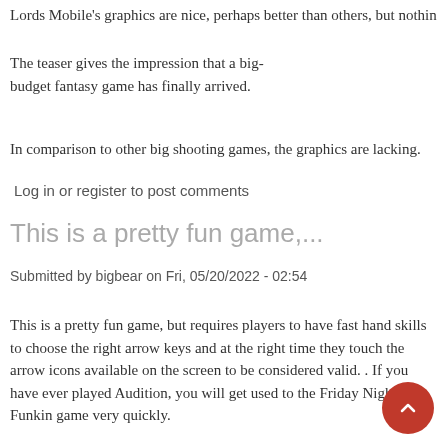Lords Mobile's graphics are nice, perhaps better than others, but nothin
The teaser gives the impression that a big-budget fantasy game has finally arrived.
In comparison to other big shooting games, the graphics are lacking.
Log in or register to post comments
This is a pretty fun game,...
Submitted by bigbear on Fri, 05/20/2022 - 02:54
This is a pretty fun game, but requires players to have fast hand skills to choose the right arrow keys and at the right time they touch the arrow icons available on the screen to be considered valid. . If you have ever played Audition, you will get used to the Friday Night Funkin game very quickly.